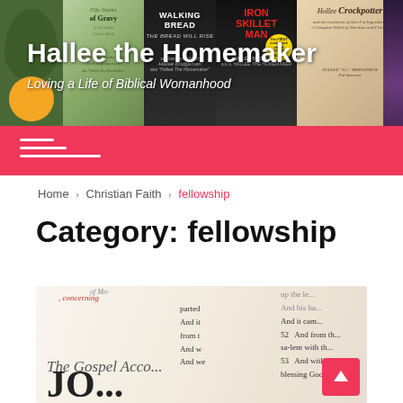[Figure (photo): Website header banner for 'Hallee the Homemaker' showing book covers and vegetables collage with site title and subtitle overlay]
Hallee the Homemaker
Loving a Life of Biblical Womanhood
Navigation/menu bar with hamburger icon
Home › Christian Faith › fellowship
Category: fellowship
[Figure (photo): Close-up photo of an open Bible showing Gospel of John pages with red letter text]